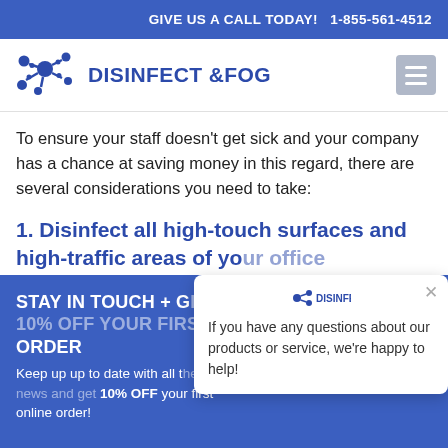GIVE US A CALL TODAY!   1-855-561-4512
[Figure (logo): Disinfect & Fog logo with blue molecular/bacteria icon and bold blue text reading DISINFECT & FOG]
To ensure your staff doesn't get sick and your company has a chance at saving money in this regard, there are several considerations you need to take:
1. Disinfect all high-touch surfaces and high-traffic areas of your office
STAY IN TOUCH + GET 10% OFF YOUR FIRST ORDER
Keep up to date with all the latest news and get 10% OFF your first online order!
[Figure (screenshot): Chat popup overlay with Disinfect & Fog logo at top, X close button, and text: If you have any questions about our products or service, we're happy to help!]
Subscribe now